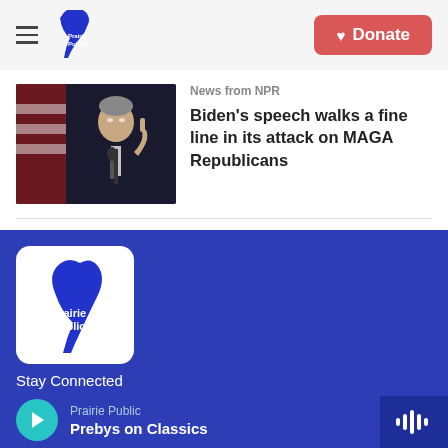Prairie Public — Donate
[Figure (photo): Photo of President Biden speaking at a podium with American flag in background]
News from NPR
Biden's speech walks a fine line in its attack on MAGA Republicans
[Figure (logo): Prairie Public logo — blue bird/microphone shape with 'Prairie Public' text on white rounded square background]
Stay Connected
Prairie Public
Prebys on Classics